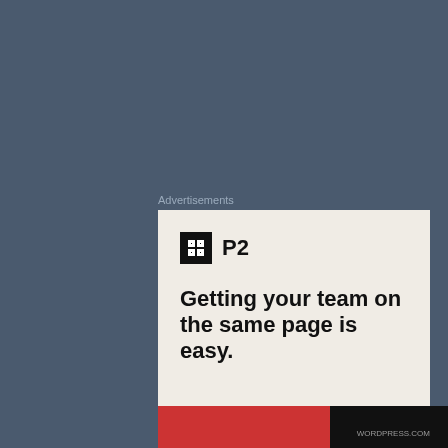Advertisements
[Figure (screenshot): Advertisement for P2 product showing logo and tagline 'Getting your team on the same page is easy.']
It would take decades to 'clean up' after Yahweh's storm of judgment. Yet there was
Privacy & Cookies: This site uses cookies. By continuing to use this website, you agree to their use.
To find out more, including how to control cookies, see here: Cookie Policy
Close and accept